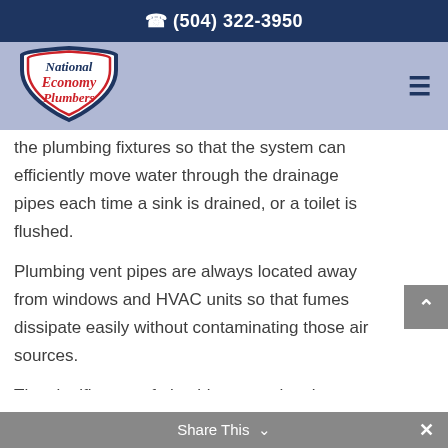(504) 322-3950
[Figure (logo): National Economy Plumbers shield logo with blue border, white background, red and blue text]
the plumbing fixtures so that the system can efficiently move water through the drainage pipes each time a sink is drained, or a toilet is flushed.
Plumbing vent pipes are always located away from windows and HVAC units so that fumes dissipate easily without contaminating those air sources.
The significance of plumbing vents has been established. Now let’s look at the top signs to look for, which may mean a vent